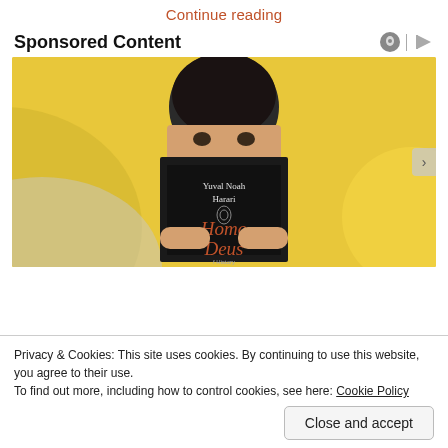Continue reading
Sponsored Content
[Figure (photo): A person holding up the book 'Homo Deus' by Yuval Noah Harari in front of their face, photographed against a yellow and white background.]
Privacy & Cookies: This site uses cookies. By continuing to use this website, you agree to their use.
To find out more, including how to control cookies, see here: Cookie Policy
Close and accept